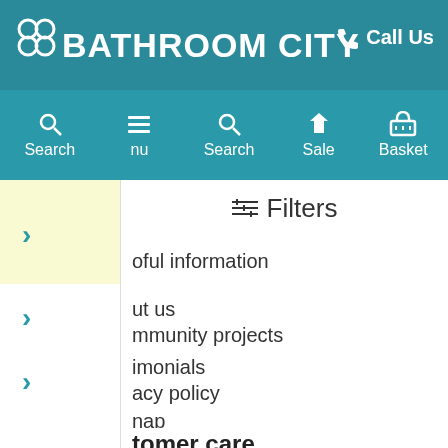BATHROOM CITY — Call Us
[Figure (screenshot): Website navigation bar with Search, Menu, Search, Sale, and Basket icons on teal background]
Filters
oful information
ut us
mmunity projects
imonials
acy policy
nap
tomer care
tact us
very information
Frequently Asked Questions